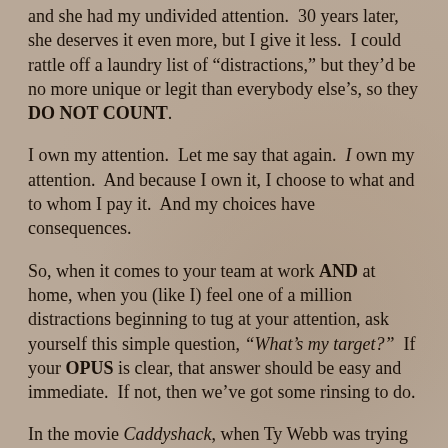and she had my undivided attention.  30 years later, she deserves it even more, but I give it less.  I could rattle off a laundry list of “distractions,” but they’d be no more unique or legit than everybody else’s, so they DO NOT COUNT.
I own my attention.  Let me say that again.  I own my attention.  And because I own it, I choose to what and to whom I pay it.  And my choices have consequences.
So, when it comes to your team at work AND at home, when you (like I) feel one of a million distractions beginning to tug at your attention, ask yourself this simple question, “What’s my target?”  If your OPUS is clear, that answer should be easy and immediate.  If not, then we’ve got some rinsing to do.
In the movie Caddyshack, when Ty Webb was trying to